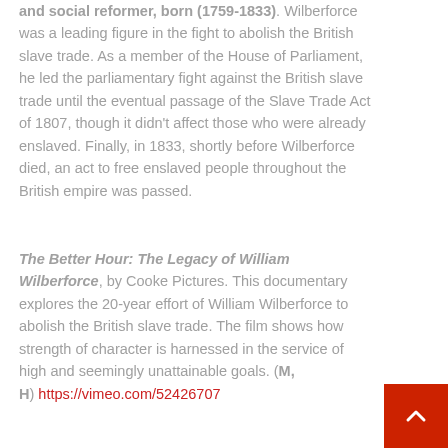and social reformer, born (1759-1833). Wilberforce was a leading figure in the fight to abolish the British slave trade. As a member of the House of Parliament, he led the parliamentary fight against the British slave trade until the eventual passage of the Slave Trade Act of 1807, though it didn't affect those who were already enslaved. Finally, in 1833, shortly before Wilberforce died, an act to free enslaved people throughout the British empire was passed.
The Better Hour: The Legacy of William Wilberforce, by Cooke Pictures. This documentary explores the 20-year effort of William Wilberforce to abolish the British slave trade. The film shows how strength of character is harnessed in the service of high and seemingly unattainable goals. (M, H) https://vimeo.com/52426707